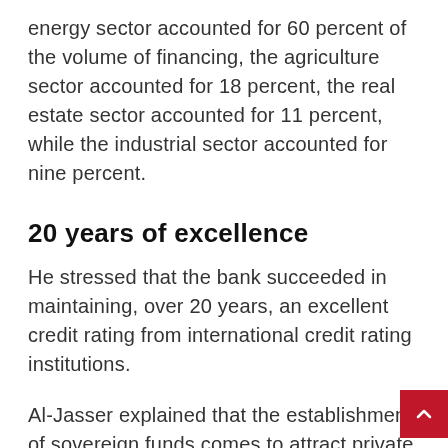energy sector accounted for 60 percent of the volume of financing, the agriculture sector accounted for 18 percent, the real estate sector accounted for 11 percent, while the industrial sector accounted for nine percent.
20 years of excellence
He stressed that the bank succeeded in maintaining, over 20 years, an excellent credit rating from international credit rating institutions.
Al-Jasser explained that the establishment of sovereign funds comes to attract private investments and encourage joint investments